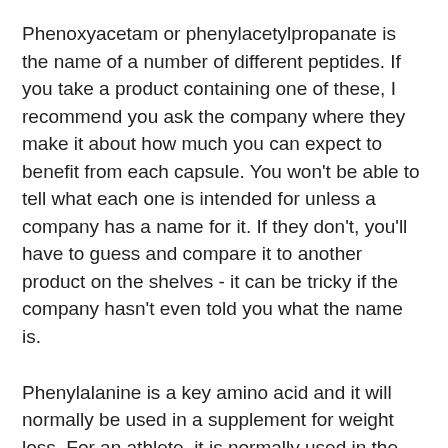Phenoxyacetam or phenylacetylpropanate is the name of a number of different peptides. If you take a product containing one of these, I recommend you ask the company where they make it about how much you can expect to benefit from each capsule. You won't be able to tell what each one is intended for unless a company has a name for it. If they don't, you'll have to guess and compare it to another product on the shelves - it can be tricky if the company hasn't even told you what the name is.
Phenylalanine is a key amino acid and it will normally be used in a supplement for weight loss. For an athlete, it is normally used in the form of a muscle building stimulant. In many cases, phenylalanine can also be used as part of a workout routine because of its effectiveness for muscle recovery and for increasing protein synthesis in muscle.